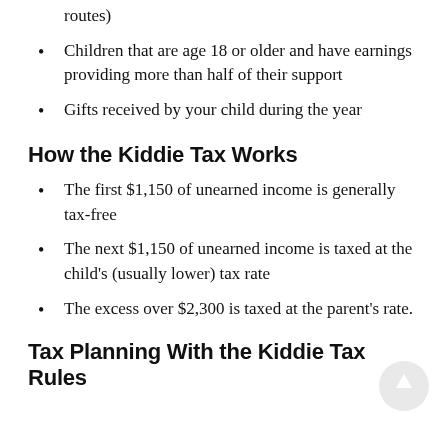income from things like babysitting or paper routes)
Children that are age 18 or older and have earnings providing more than half of their support
Gifts received by your child during the year
How the Kiddie Tax Works
The first $1,150 of unearned income is generally tax-free
The next $1,150 of unearned income is taxed at the child's (usually lower) tax rate
The excess over $2,300 is taxed at the parent's rate.
Tax Planning With the Kiddie Tax Rules